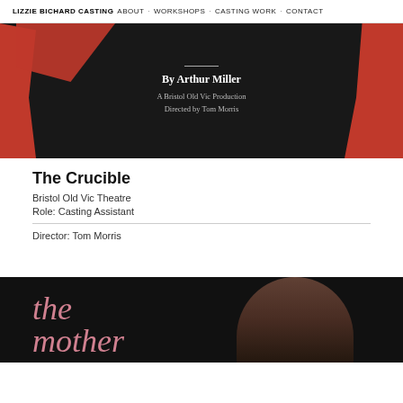LIZZIE BICHARD CASTING  ABOUT · WORKSHOPS · CASTING WORK · CONTACT
[Figure (photo): Theatre poster for The Crucible by Arthur Miller, a Bristol Old Vic Production directed by Tom Morris. Black background with red graphic elements, white text.]
The Crucible
Bristol Old Vic Theatre
Role: Casting Assistant
Director: Tom Morris
[Figure (photo): Theatre poster for 'the mother' showing pink italic text on dark background with a woman's face partially visible.]